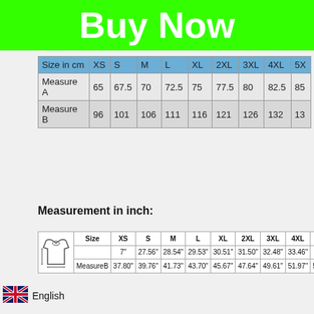Buy Now
| Size in cm | XS | S | M | L | XL | 2XL | 3XL | 4XL | 5X |
| --- | --- | --- | --- | --- | --- | --- | --- | --- | --- |
| Measure A | 65 | 67.5 | 70 | 72.5 | 75 | 77.5 | 80 | 82.5 | 85 |
| Measure B | 96 | 101 | 106 | 111 | 116 | 121 | 126 | 132 | 13 |
Measurement in inch:
| (image) | Size | XS | S | M | L | XL | 2XL | 3XL | 4XL | 5XL |
| --- | --- | --- | --- | --- | --- | --- | --- | --- | --- | --- |
|  |  | 7" | 27.56" | 28.54" | 29.53" | 30.51" | 31.50" | 32.48" | 33.46" |  |
|  | MeasureR | 37.80" | 39.76" | 41.73" | 43.70" | 45.67" | 47.64" | 49.61" | 51.97" | 53.94" |
English